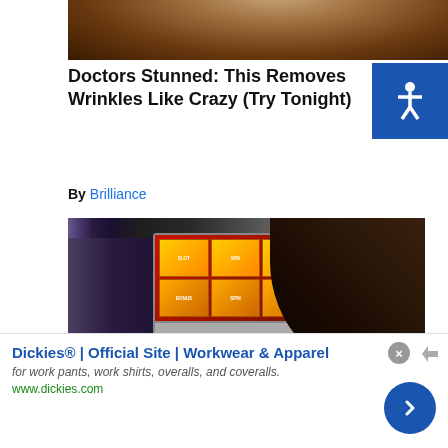[Figure (photo): Close-up photo of a person's face/head from above, dark skin, partial view]
Doctors Stunned: This Removes Wrinkles Like Crazy (Try Tonight)
By Brilliance
[Figure (photo): Photo of a woman with long dark hair looking at an open slot machine, showing internal reels and components. She is wearing a black and red jacket.]
Dickies® | Official Site | Workwear & Apparel
for work pants, work shirts, overalls, and coveralls.
www.dickies.com